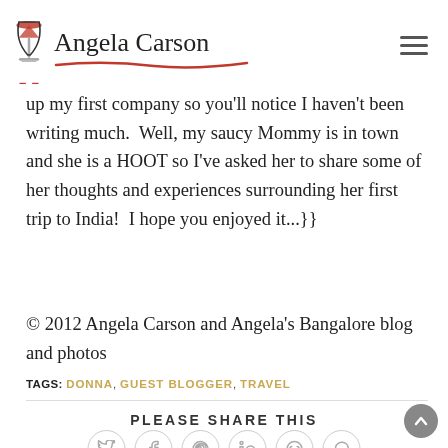Angela Carson
up my first company so you'll notice I haven't been writing much.  Well, my saucy Mommy is in town and she is a HOOT so I've asked her to share some of her thoughts and experiences surrounding her first trip to India!  I hope you enjoyed it...}}
© 2012 Angela Carson and Angela's Bangalore blog and photos
TAGS: DONNA, GUEST BLOGGER, TRAVEL
PLEASE SHARE THIS